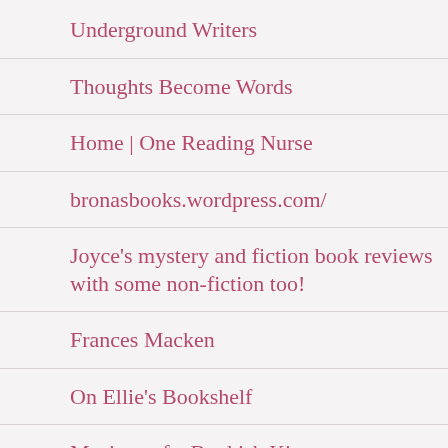Underground Writers
Thoughts Become Words
Home | One Reading Nurse
bronasbooks.wordpress.com/
Joyce's mystery and fiction book reviews with some non-fiction too!
Frances Macken
On Ellie's Bookshelf
Musings of a Bookish Kitty